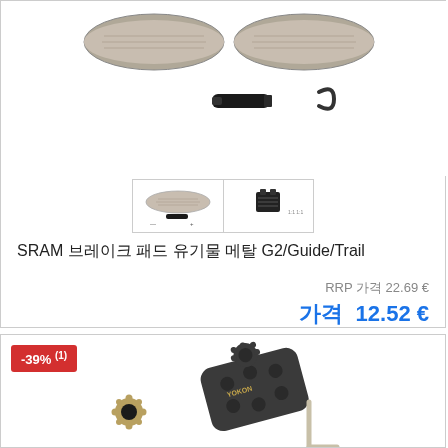[Figure (photo): SRAM brake pad product image showing brake pads, bolt, and clip hardware pieces on white background, with two thumbnail variant images below]
SRAM 브레이크 패드 유기물 메탈 G2/Guide/Trail
RRP 가격 22.69 €
가격 12.52 €
[Figure (photo): Second brake pad product (Yokon brand) with -39% discount badge, showing disc brake pads with gear-shaped washer and wrench hardware on white background]
-39% (1)